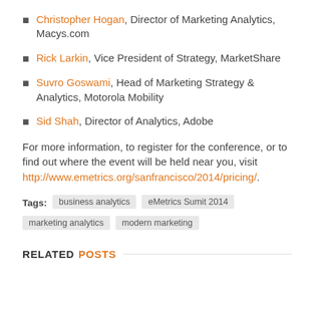Christopher Hogan, Director of Marketing Analytics, Macys.com
Rick Larkin, Vice President of Strategy, MarketShare
Suvro Goswami, Head of Marketing Strategy & Analytics, Motorola Mobility
Sid Shah, Director of Analytics, Adobe
For more information, to register for the conference, or to find out where the event will be held near you, visit http://www.emetrics.org/sanfrancisco/2014/pricing/.
Tags: business analytics  eMetrics Sumit 2014  marketing analytics  modern marketing
RELATED POSTS